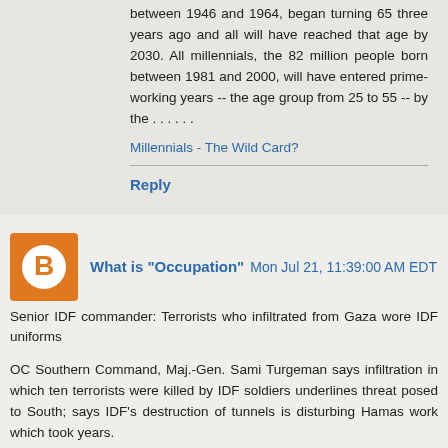between 1946 and 1964, began turning 65 three years ago and all will have reached that age by 2030. All millennials, the 82 million people born between 1981 and 2000, will have entered prime-working years -- the age group from 25 to 55 -- by the . . . . . .
Millennials - The Wild Card?
Reply
What is "Occupation"  Mon Jul 21, 11:39:00 AM EDT
Senior IDF commander: Terrorists who infiltrated from Gaza wore IDF uniforms
OC Southern Command, Maj.-Gen. Sami Turgeman says infiltration in which ten terrorists were killed by IDF soldiers underlines threat posed to South; says IDF's destruction of tunnels is disturbing Hamas work which took years.
This morning's tunnel infiltration by two Hamas squads